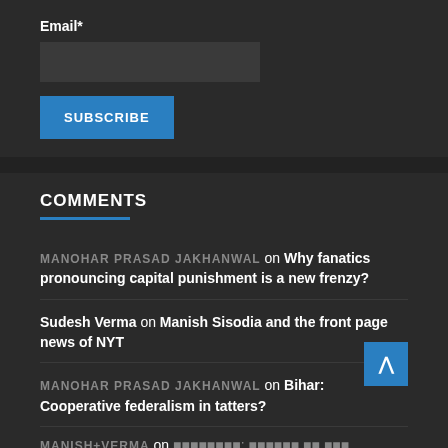Email*
COMMENTS
MANOHAR PRASAD JAKHANWAL on Why fanatics pronouncing capital punishment is a new frenzy?
Sudesh Verma on Manish Sisodia and the front page news of NYT
MANOHAR PRASAD JAKHANWAL on Bihar: Cooperative federalism in tatters?
Manish+Verma on [non-latin text]